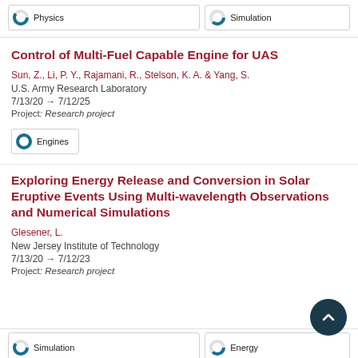[Figure (infographic): Two tag boxes with donut chart icons: 'Physics' (~60% filled) and 'Simulation' (~40% filled)]
Control of Multi-Fuel Capable Engine for UAS
Sun, Z., Li, P. Y., Rajamani, R., Stelson, K. A. & Yang, S.
U.S. Army Research Laboratory
7/13/20 → 7/12/25
Project: Research project
[Figure (infographic): Tag box with 100% filled donut icon and label 'Engines']
Exploring Energy Release and Conversion in Solar Eruptive Events Using Multi-wavelength Observations and Numerical Simulations
Glesener, L.
New Jersey Institute of Technology
7/13/20 → 7/12/23
Project: Research project
[Figure (infographic): Partial tag boxes at bottom: 'Simulation' (~60% filled) and 'Energy' (~40% filled), partially cut off]